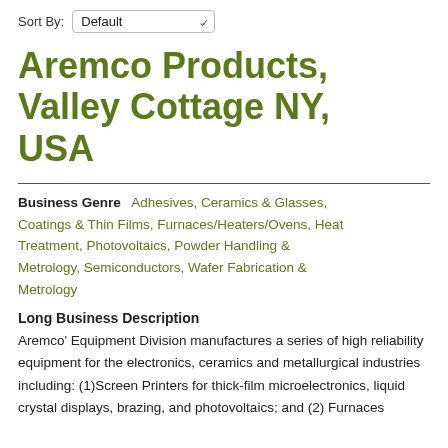Sort By: Default
Aremco Products, Valley Cottage NY, USA
Business Genre   Adhesives, Ceramics & Glasses, Coatings & Thin Films, Furnaces/Heaters/Ovens, Heat Treatment, Photovoltaics, Powder Handling & Metrology, Semiconductors, Wafer Fabrication & Metrology
Long Business Description
Aremco' Equipment Division manufactures a series of high reliability equipment for the electronics, ceramics and metallurgical industries including: (1)Screen Printers for thick-film microelectronics, liquid crystal displays, brazing, and photovoltaics; and (2) Furnaces for heat treatment, ceramics, and metallurgy